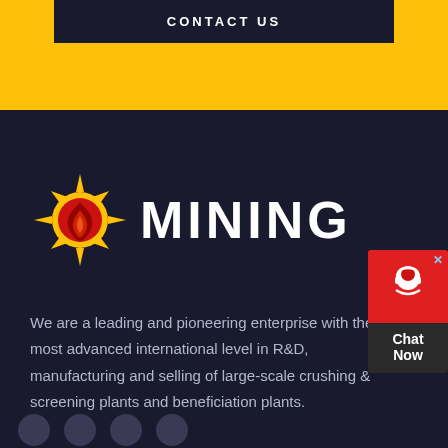CONTACT US
[Figure (logo): Sun/flame mining company logo with golden sunburst, red circle, and flame design with the word MINING in white bold text]
We are a leading and pioneering enterprise with the most advanced international level in R&D, manufacturing and selling of large-scale crushing & screening plants and beneficiation plants.
[Figure (infographic): Chat Now widget — red box with headset/person icon and dark grey box with 'Chat Now' text, with a close X button]